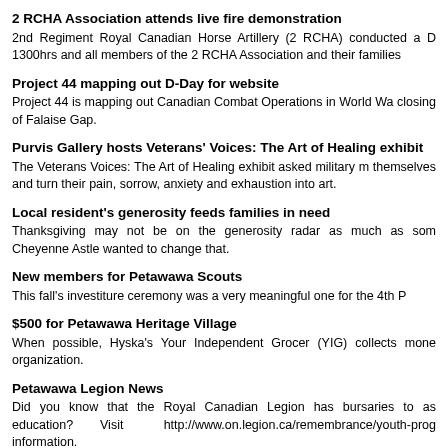2 RCHA Association attends live fire demonstration
2nd Regiment Royal Canadian Horse Artillery (2 RCHA) conducted a D… 1300hrs and all members of the 2 RCHA Association and their families…
Project 44 mapping out D-Day for website
Project 44 is mapping out Canadian Combat Operations in World Wa… closing of Falaise Gap.
Purvis Gallery hosts Veterans' Voices: The Art of Healing exhibit
The Veterans Voices: The Art of Healing exhibit asked military m… themselves and turn their pain, sorrow, anxiety and exhaustion into art.
Local resident's generosity feeds families in need
Thanksgiving may not be on the generosity radar as much as som… Cheyenne Astle wanted to change that.
New members for Petawawa Scouts
This fall's investiture ceremony was a very meaningful one for the 4th P…
$500 for Petawawa Heritage Village
When possible, Hyska's Your Independent Grocer (YIG) collects mone… organization.
Petawawa Legion News
Did you know that the Royal Canadian Legion has bursaries to as… education? Visit http://www.on.legion.ca/remembrance/youth-prog… information.
NEWS FROM THE GREATER PETAWAWA CIVITAN CLUB